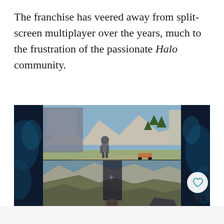The franchise has veered away from split-screen multiplayer over the years, much to the frustration of the passionate Halo community.
[Figure (screenshot): Split-screen screenshot from a Halo game showing two game views stacked vertically. Top half shows a Spartan soldier character walking on a path with trees and mountains in the background. Bottom half shows a first-person view with rocky terrain and mountains. Dark nebula/space imagery borders the left and right sides. A heart/like button icon appears in the lower right area of the image, along with the number 178.]